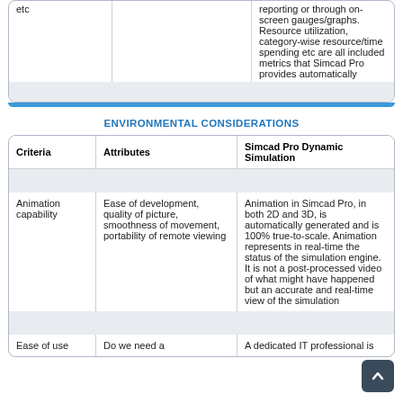|  |  |  |
| --- | --- | --- |
| etc |  | reporting or through on-screen gauges/graphs. Resource utilization, category-wise resource/time spending etc are all included metrics that Simcad Pro provides automatically |
|  |  |  |
ENVIRONMENTAL CONSIDERATIONS
| Criteria | Attributes | Simcad Pro Dynamic Simulation |
| --- | --- | --- |
|  |  |  |
| Animation capability | Ease of development, quality of picture, smoothness of movement, portability of remote viewing | Animation in Simcad Pro, in both 2D and 3D, is automatically generated and is 100% true-to-scale. Animation represents in real-time the status of the simulation engine. It is not a post-processed video of what might have happened but an accurate and real-time view of the simulation |
|  |  |  |
| Ease of use | Do we need a | A dedicated IT professional is |